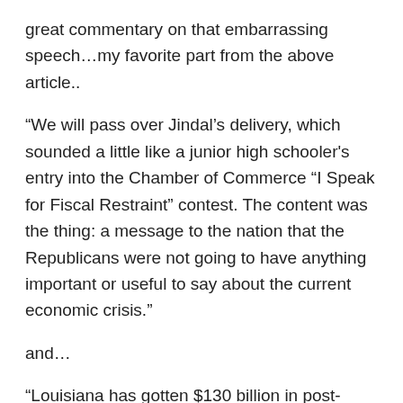great commentary on that embarrassing speech…my favorite part from the above article..
“We will pass over Jindal’s delivery, which sounded a little like a junior high schooler's entry into the Chamber of Commerce “I Speak for Fiscal Restraint” contest. The content was the thing: a message to the nation that the Republicans were not going to have anything important or useful to say about the current economic crisis.”
and…
“Louisiana has gotten $130 billion in post-Katrina aid. How is it that the stars of the Republican austerity movement come from the states that